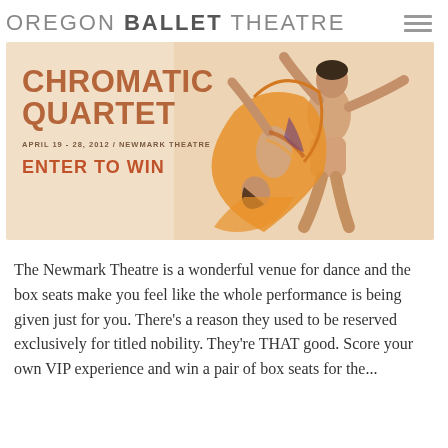OREGON BALLET THEATRE
[Figure (illustration): Oregon Ballet Theatre promotional banner for Chromatic Quartet showing two ballet dancers in orange costumes. Banner includes text: CHROMATIC QUARTET, APRIL 19 - 28, 2012 / NEWMARK THEATRE, ENTER TO WIN]
The Newmark Theatre is a wonderful venue for dance and the box seats make you feel like the whole performance is being given just for you. There's a reason they used to be reserved exclusively for titled nobility. They're THAT good. Score your own VIP experience and win a pair of box seats for the...